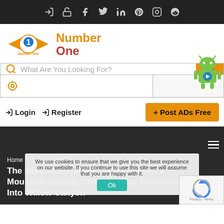Top navigation bar with social and login icons
[Figure (logo): Number One website logo with orange wings and text]
What Are You Looking For? (search bar)
Location/target icon and search field
Login   Register   + Post ADs Free
Home / Blog Details /
The Seven Cataracts Adventure Hike. A Mountain-Sliding, Canyoneering Exploration Into Willow Canyon
We use cookies to ensure that we give you the best experience on our website. If you continue to use this site we will assume that you are happy with it. Ok